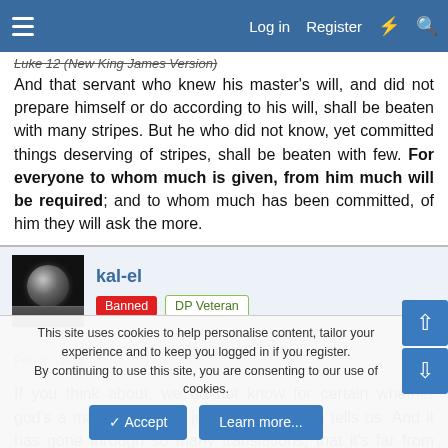Log in  Register
Luke 12 (New King James Version)
And that servant who knew his master's will, and did not prepare himself or do according to his will, shall be beaten with many stripes. But he who did not know, yet committed things deserving of stripes, shall be beaten with few. For everyone to whom much is given, from him much will be required; and to whom much has been committed, of him they will ask the more.
kal-el
Banned  DP Veteran
Feb 8, 2006  #19
If you think about, we do not know for certain whether god's a male of female, just what the bible tells us. And it has gone through so many translations, that it's far from the word of god
This site uses cookies to help personalise content, tailor your experience and to keep you logged in if you register.
By continuing to use this site, you are consenting to our use of cookies.
Accept  Learn more...